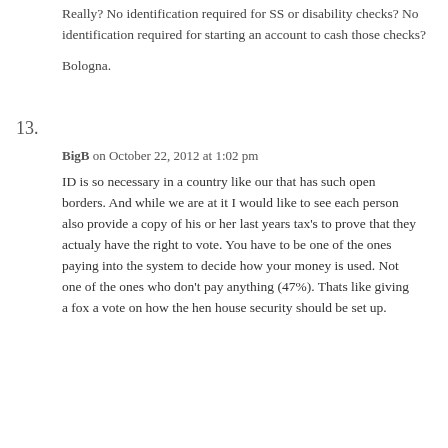Really? No identification required for SS or disability checks? No identification required for starting an account to cash those checks?
Bologna.
13.
BigB on October 22, 2012 at 1:02 pm
ID is so necessary in a country like our that has such open borders. And while we are at it I would like to see each person also provide a copy of his or her last years tax's to prove that they actualy have the right to vote. You have to be one of the ones paying into the system to decide how your money is used. Not one of the ones who don't pay anything (47%). Thats like giving a fox a vote on how the hen house security should be set up.